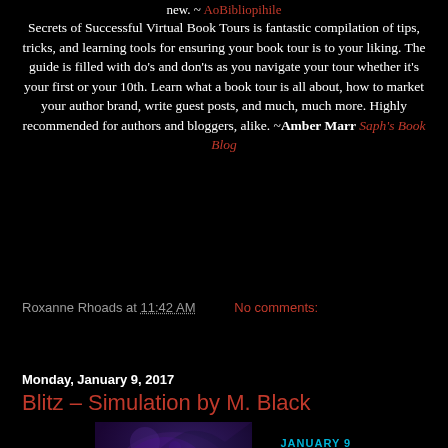new. ~ AoBibliopihile
Secrets of Successful Virtual Book Tours is fantastic compilation of tips, tricks, and learning tools for ensuring your book tour is to your liking. The guide is filled with do's and don'ts as you navigate your tour whether it's your first or your 10th. Learn what a book tour is all about, how to market your author brand, write guest posts, and much, much more. Highly recommended for authors and bloggers, alike. ~Amber Marr Saph's Book Blog
Roxanne Rhoads at 11:42 AM   No comments:
Share
Monday, January 9, 2017
Blitz – Simulation by M. Black
[Figure (illustration): Book blitz promotional image for Simulation by M. Black — January 9 Blitz, with blue stylized title text over dark background, with two figures/faces on the left side]